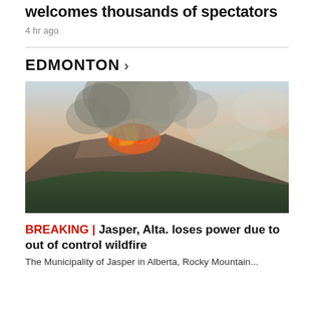welcomes thousands of spectators
4 hr ago
EDMONTON >
[Figure (photo): Aerial photograph of a wildfire burning on a mountain ridge near Jasper, Alberta, with large plumes of orange flames and thick grey smoke rising into a hazy sky, dense forest visible below.]
BREAKING | Jasper, Alta. loses power due to out of control wildfire
The Municipality of Jasper in Alberta, Rocky Mountain...